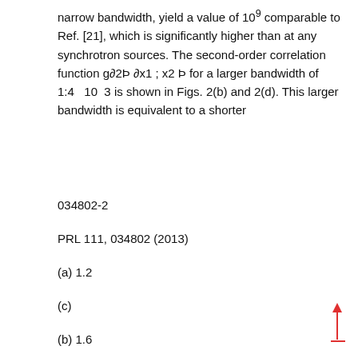narrow bandwidth, yield a value of 109 comparable to Ref. [21], which is significantly higher than at any synchrotron sources. The second-order correlation function g∂2Þ ∂x1 ; x2 Þ for a larger bandwidth of 1:4   10  3 is shown in Figs. 2(b) and 2(d). This larger bandwidth is equivalent to a shorter
034802-2
PRL 111, 034802 (2013)
(a) 1.2
(c)
(b) 1.6
1
S
S(ω ), arb. units